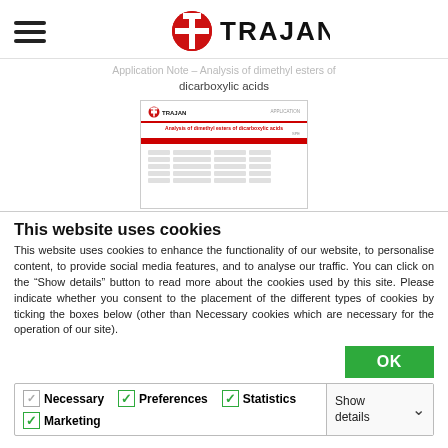TRAJAN — Application Note – Analysis of dimethyl esters of dicarboxylic acids
[Figure (screenshot): Thumbnail preview of a Trajan application note document page showing a table about analysis of dimethyl esters of dicarboxylic acids]
This website uses cookies
This website uses cookies to enhance the functionality of our website, to personalise content, to provide social media features, and to analyse our traffic. You can click on the "Show details" button to read more about the cookies used by this site. Please indicate whether you consent to the placement of the different types of cookies by ticking the boxes below (other than Necessary cookies which are necessary for the operation of our site).
OK
Necessary | Preferences | Statistics | Marketing | Show details